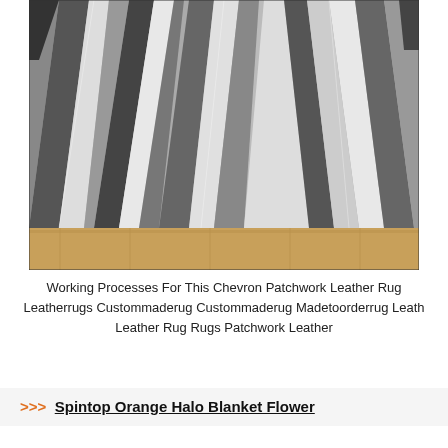[Figure (photo): Overhead view of a chevron patchwork leather rug with alternating grey, white, and dark grey diagonal parallelogram patches arranged in a herringbone/chevron pattern, laid on a wooden floor.]
Working Processes For This Chevron Patchwork Leather Rug Leatherrugs Custommaderug Custommaderug Madetoorderrug Leath Leather Rug Rugs Patchwork Leather
>>> Spintop Orange Halo Blanket Flower